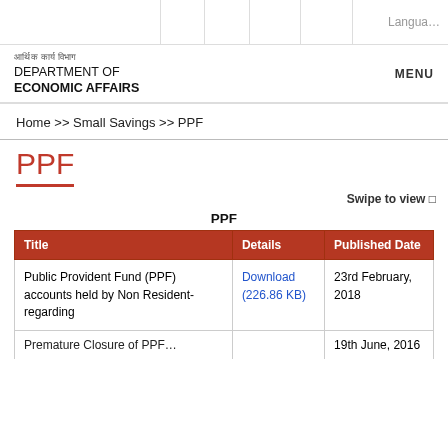Language
DEPARTMENT OF ECONOMIC AFFAIRS
Home >> Small Savings >> PPF
PPF
Swipe to view
| Title | Details | Published Date |
| --- | --- | --- |
| Public Provident Fund (PPF) accounts held by Non Resident-regarding | Download (226.86 KB) | 23rd February, 2018 |
| Premature Closure of PPF... |  | 19th June, 2016 |